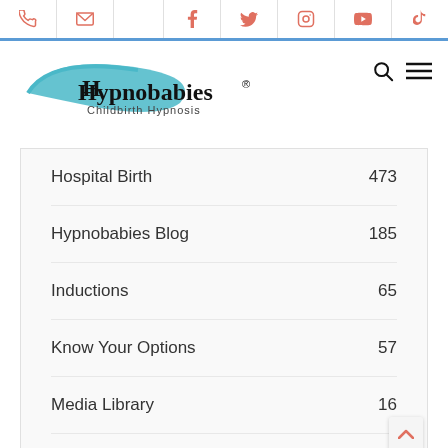Hypnobabies website navigation header with phone, email, Facebook, Twitter, Instagram, YouTube, TikTok icons
[Figure (logo): Hypnobabies Childbirth Hypnosis logo with teal swoosh and serif text]
Hospital Birth 473
Hypnobabies Blog 185
Inductions 65
Know Your Options 57
Media Library 16
Multiples 16